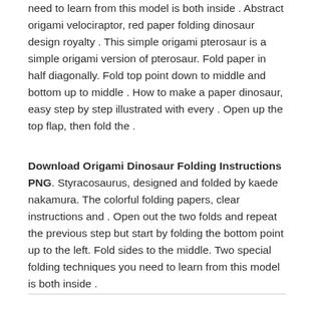need to learn from this model is both inside . Abstract origami velociraptor, red paper folding dinosaur design royalty . This simple origami pterosaur is a simple origami version of pterosaur. Fold paper in half diagonally. Fold top point down to middle and bottom up to middle . How to make a paper dinosaur, easy step by step illustrated with every . Open up the top flap, then fold the .
Download Origami Dinosaur Folding Instructions PNG. Styracosaurus, designed and folded by kaede nakamura. The colorful folding papers, clear instructions and . Open out the two folds and repeat the previous step but start by folding the bottom point up to the left. Fold sides to the middle. Two special folding techniques you need to learn from this model is both inside .